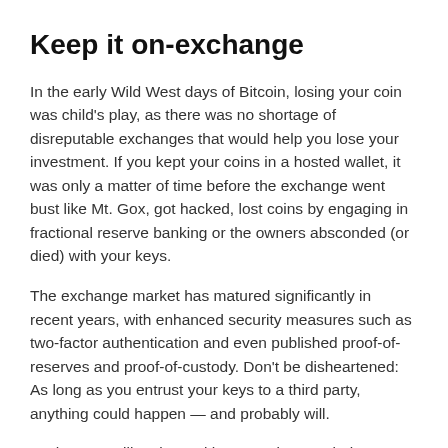Keep it on-exchange
In the early Wild West days of Bitcoin, losing your coin was child's play, as there was no shortage of disreputable exchanges that would help you lose your investment. If you kept your coins in a hosted wallet, it was only a matter of time before the exchange went bust like Mt. Gox, got hacked, lost coins by engaging in fractional reserve banking or the owners absconded (or died) with your keys.
The exchange market has matured significantly in recent years, with enhanced security measures such as two-factor authentication and even published proof-of-reserves and proof-of-custody. Don't be disheartened: As long as you entrust your keys to a third party, anything could happen — and probably will.
Exchanges still go bust with reassuring regularity. Even more encouragingly, governments are now actively targeting Bitcoiners' wealth. And, not just traditional authoritarians like